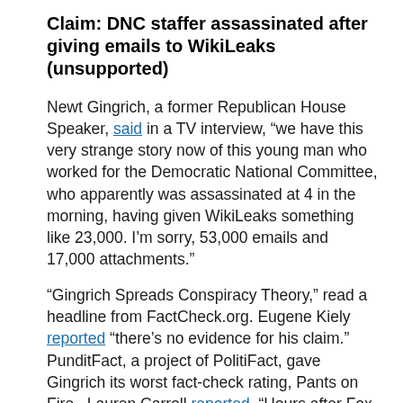Claim: DNC staffer assassinated after giving emails to WikiLeaks (unsupported)
Newt Gingrich, a former Republican House Speaker, said in a TV interview, “we have this very strange story now of this young man who worked for the Democratic National Committee, who apparently was assassinated at 4 in the morning, having given WikiLeaks something like 23,000. I’m sorry, 53,000 emails and 17,000 attachments.”
“Gingrich Spreads Conspiracy Theory,” read a headline from FactCheck.org. Eugene Kiely reported “there’s no evidence for his claim.” PunditFact, a project of PolitiFact, gave Gingrich its worst fact-check rating, Pants on Fire. Lauren Carroll reported, “Hours after Fox published its report, (Rod) Wheeler recanted. He told CNN that he hadn’t seen the evidence himself, and his knowledge of Rich’s alleged email contact with WikiLeaks came from the national Fox News reporter, not his own investigative work.”